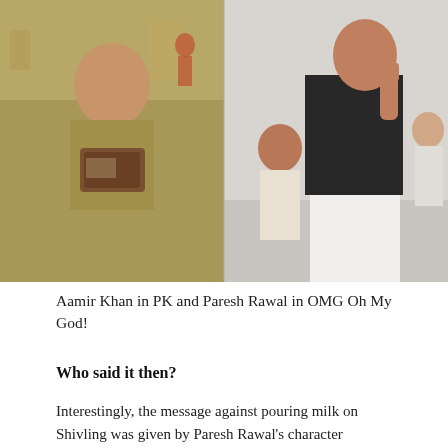[Figure (photo): Two side-by-side photos: left shows Aamir Khan in PK holding a wallet/money, right shows Paresh Rawal in OMG Oh My God! gesturing with hand raised]
Aamir Khan in PK and Paresh Rawal in OMG Oh My God!
Who said it then?
Interestingly, the message against pouring milk on Shivling was given by Paresh Rawal's character Kanjibhai in his film OMG Oh My God (2012). In fact, the character in the movie shares an in-depth and hard-hitting opinion on why it is futile to pour milk on the Shivling, among other of from the crowd...